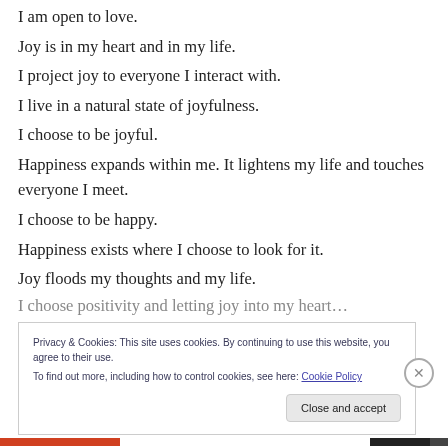I am open to love.
Joy is in my heart and in my life.
I project joy to everyone I interact with.
I live in a natural state of joyfulness.
I choose to be joyful.
Happiness expands within me. It lightens my life and touches everyone I meet.
I choose to be happy.
Happiness exists where I choose to look for it.
Joy floods my thoughts and my life.
[truncated line partially visible]
Privacy & Cookies: This site uses cookies. By continuing to use this website, you agree to their use. To find out more, including how to control cookies, see here: Cookie Policy
Close and accept